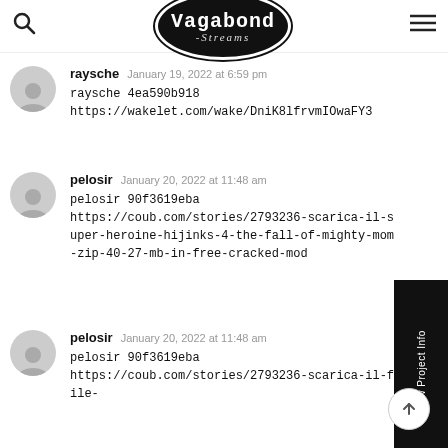checklist-hot
[Figure (logo): Vagabond Streams logo — black oval with white text 'Vagabond' in bold typewriter font and 'Streams' in cursive below]
raysche   January 19, 2022 at 6:59 pm
raysche 4ea590b918
https://wakelet.com/wake/DniK8lfrvmIOwaFY3
pelosir   January 20, 2022 at 11:48 am
pelosir 90f3619eba
https://coub.com/stories/2793236-scarica-il-super-heroine-hijinks-4-the-fall-of-mighty-mom-zip-40-27-mb-in-free-cracked-mod
pelosir   January 20, 2022 at 11:48 am
pelosir 90f3619eba
https://coub.com/stories/2793236-scarica-il-file-